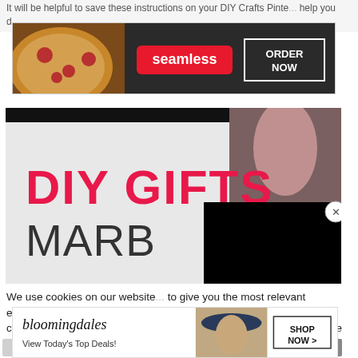It will be helpful to save these instructions on your DIY Crafts Pinte... help you d...
[Figure (screenshot): Seamless food delivery advertisement banner with pizza image, seamless logo in red, and ORDER NOW button]
[Figure (screenshot): DIY Gifts article image with 'DIY GIFTS' in bold pink text and 'MARB' partially visible in dark text, overlaid with black video player popup and X close button]
We use cookies on our website to give you the most relevant experience by remembering your preferences and repeat visits. By clicking "Accept All", you consent to the use of ALL the cookies. However, you may visit "Cookie Settings" to provide a controlled consent.
[Figure (screenshot): Cookie settings bar with Cookie Settings button, Accept All button in green, and CLOSE button in gray]
[Figure (screenshot): Bloomingdale's advertisement banner with woman in hat, 'View Today's Top Deals!' text and SHOP NOW > button]